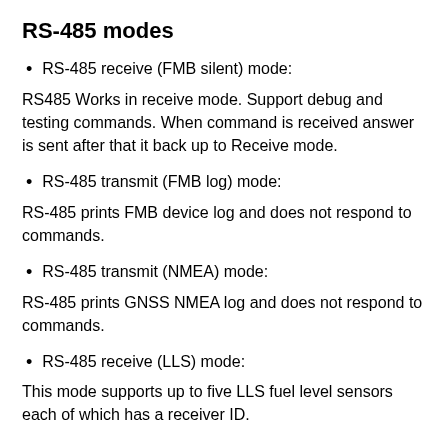RS-485 modes
RS-485 receive (FMB silent) mode:
RS485 Works in receive mode. Support debug and testing commands. When command is received answer is sent after that it back up to Receive mode.
RS-485 transmit (FMB log) mode:
RS-485 prints FMB device log and does not respond to commands.
RS-485 transmit (NMEA) mode:
RS-485 prints GNSS NMEA log and does not respond to commands.
RS-485 receive (LLS) mode:
This mode supports up to five LLS fuel level sensors each of which has a receiver ID.